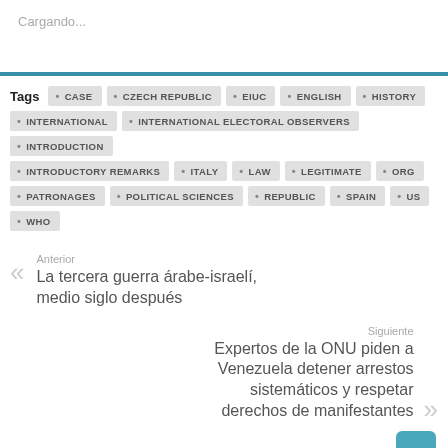Cargando...
Tags: CASE, CZECH REPUBLIC, EIUC, ENGLISH, HISTORY, INTERNATIONAL, INTERNATIONAL ELECTORAL OBSERVERS, INTRODUCTION, INTRODUCTORY REMARKS, ITALY, LAW, LEGITIMATE, ORG, PATRONAGES, POLITICAL SCIENCES, REPUBLIC, SPAIN, US, WHO
Anterior
La tercera guerra árabe-israelí, medio siglo después
Siguiente
Expertos de la ONU piden a Venezuela detener arrestos sistemáticos y respetar derechos de manifestantes